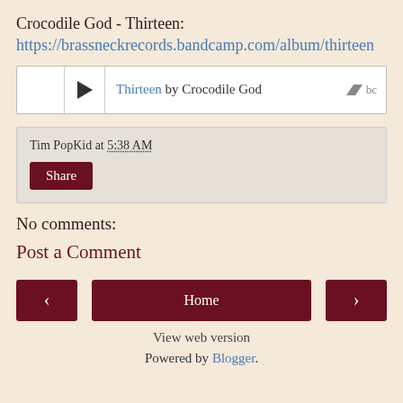Crocodile God - Thirteen:
https://brassneckrecords.bandcamp.com/album/thirteen
[Figure (other): Embedded Bandcamp music player showing 'Thirteen by Crocodile God' with play button and Bandcamp logo]
Tim PopKid at 5:38 AM
Share
No comments:
Post a Comment
< Home >
View web version
Powered by Blogger.